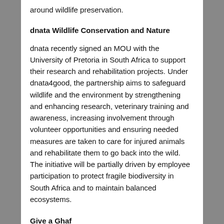around wildlife preservation.
dnata Wildlife Conservation and Nature
dnata recently signed an MOU with the University of Pretoria in South Africa to support their research and rehabilitation projects. Under dnata4good, the partnership aims to safeguard wildlife and the environment by strengthening and enhancing research, veterinary training and awareness, increasing involvement through volunteer opportunities and ensuring needed measures are taken to care for injured animals and rehabilitate them to go back into the wild. The initiative will be partially driven by employee participation to protect fragile biodiversity in South Africa and to maintain balanced ecosystems.
Give a Ghaf
Emirates Group employees living in Meydan Heights (UAE)